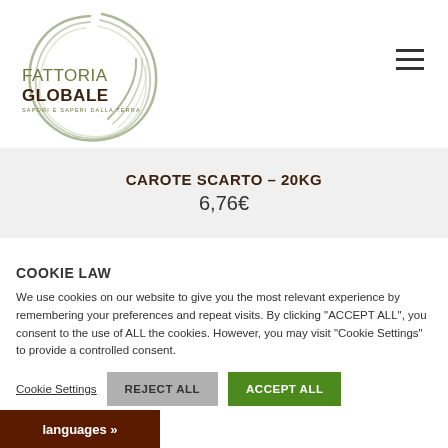[Figure (logo): Fattoria Globale logo with circular swoosh lines and tagline 'SAPORI E SAPERI DALLA TERRA']
CAROTE SCARTO – 20KG
6,76€
COOKIE LAW
We use cookies on our website to give you the most relevant experience by remembering your preferences and repeat visits. By clicking "ACCEPT ALL", you consent to the use of ALL the cookies. However, you may visit "Cookie Settings" to provide a controlled consent.
Cookie Settings   REJECT ALL   ACCEPT ALL
languages »